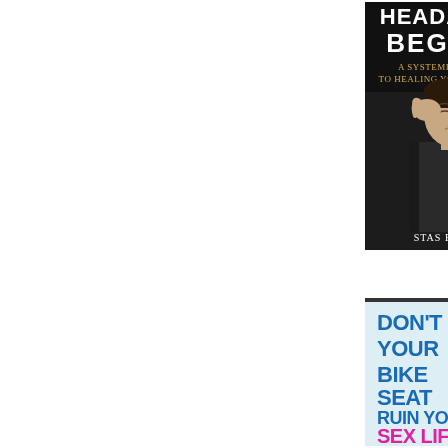[Figure (illustration): Book cover: 'Headaches Begone! A Systemic Approach To Healing Your Headaches' by Stas Bekman. Dark background with man holding his head in pain.]
[Figure (illustration): Book cover: 'Don't Let Your Bike Seat Ruin Your Sex Life' with blue and pink text on light background with bicycle seat image.]